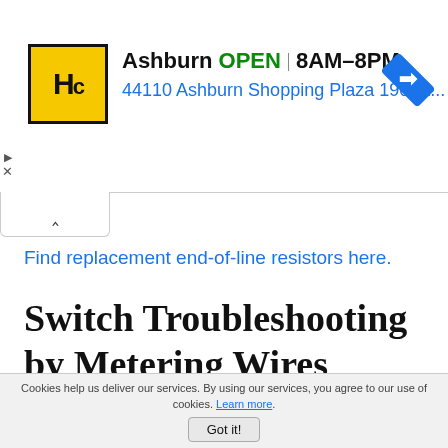[Figure (screenshot): Advertisement banner for HC hardware store in Ashburn, showing store logo, OPEN status, hours 8AM-8PM, address 44110 Ashburn Shopping Plaza 190, and navigation icon]
Find replacement end-of-line resistors here.
Switch Troubleshooting by Metering Wires
Now we can start metering wires on the bad zone. Note that if an EOLR is in the field, the resistance of the switch is now added to the value of the end-of-line resistor, so you'll need to consider that when taking a
Cookies help us deliver our services. By using our services, you agree to our use of cookies. Learn more. Got it!